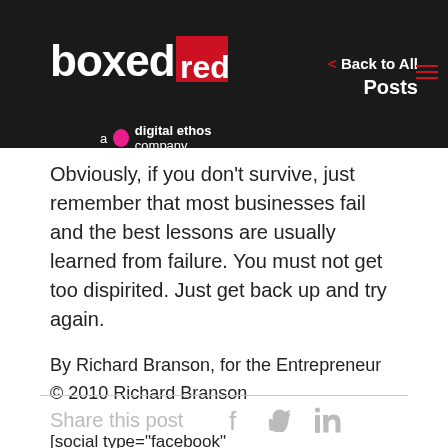boxed red — a digital ethos company | < Back to All Posts
Obviously, if you don't survive, just remember that most businesses fail and the best lessons are usually learned from failure. You must not get too dispirited. Just get back up and try again.
By Richard Branson, for the Entrepreneur
© 2010 Richard Branson
[social type="facebook" opacity="light"]https://www.fb.com/boxedred[/social]
Share this post